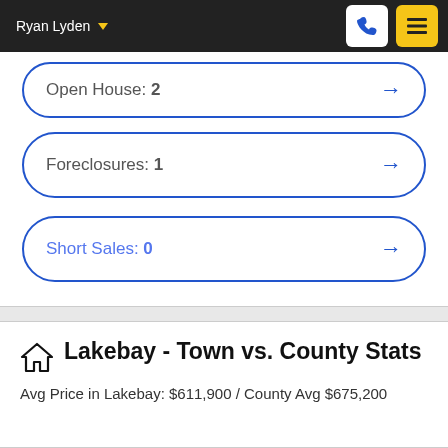Ryan Lyden
Open House: 2
Foreclosures: 1
Short Sales: 0
Lakebay - Town vs. County Stats
Avg Price in Lakebay: $611,900 / County Avg $675,200